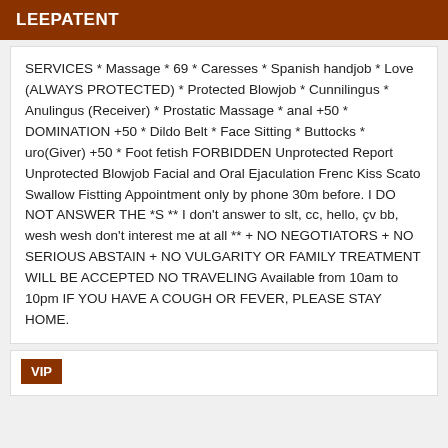LEEPATENT
SERVICES * Massage * 69 * Caresses * Spanish handjob * Love (ALWAYS PROTECTED) * Protected Blowjob * Cunnilingus * Anulingus (Receiver) * Prostatic Massage * anal +50 * DOMINATION +50 * Dildo Belt * Face Sitting * Buttocks * uro(Giver) +50 * Foot fetish FORBIDDEN Unprotected Report Unprotected Blowjob Facial and Oral Ejaculation Frenc Kiss Scato Swallow Fistting Appointment only by phone 30m before. I DO NOT ANSWER THE *S ** I don't answer to slt, cc, hello, çv bb, wesh wesh don't interest me at all ** + NO NEGOTIATORS + NO SERIOUS ABSTAIN + NO VULGARITY OR FAMILY TREATMENT WILL BE ACCEPTED NO TRAVELING Available from 10am to 10pm IF YOU HAVE A COUGH OR FEVER, PLEASE STAY HOME.
VIP